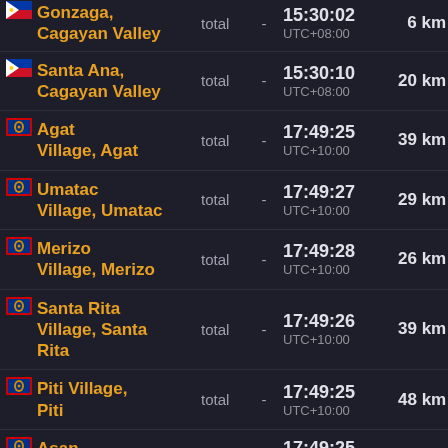| Location | Type |  | Time | Distance |
| --- | --- | --- | --- | --- |
| Gonzaga, Cagayan Valley | total | - | 15:30:02 UTC+08:00 | 6 km |
| Santa Ana, Cagayan Valley | total | - | 15:30:10 UTC+08:00 | 20 km |
| Agat Village, Agat | total | - | 17:49:25 UTC+10:00 | 39 km |
| Umatac Village, Umatac | total | - | 17:49:27 UTC+10:00 | 29 km |
| Merizo Village, Merizo | total | - | 17:49:28 UTC+10:00 | 26 km |
| Santa Rita Village, Santa Rita | total | - | 17:49:26 UTC+10:00 | 39 km |
| Piti Village, Piti | total | - | 17:49:25 UTC+10:00 | 48 km |
| Asan- | total | - | 17:49:25 |  |